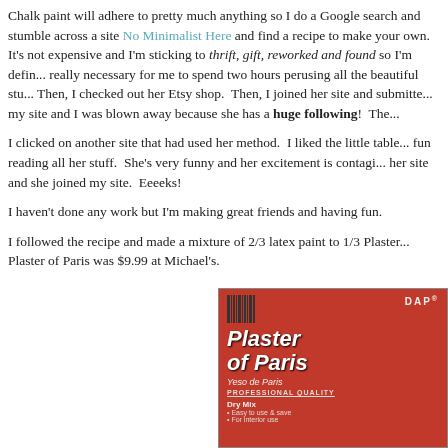Chalk paint will adhere to pretty much anything so I do a Google search and stumble across a site No Minimalist Here and find a recipe to make your own. It's not expensive and I'm sticking to thrift, gift, reworked and found so I'm definitely a fan. It wasn't really necessary for me to spend two hours perusing all the beautiful stuff on her site. Then, I checked out her Etsy shop. Then, I joined her site and submitted my site and I was blown away because she has a huge following! The...
I clicked on another site that had used her method. I liked the little table... fun reading all her stuff. She's very funny and her excitement is contagious... her site and she joined my site. Eeeeks!
I haven't done any work but I'm making great friends and having fun.
I followed the recipe and made a mixture of 2/3 latex paint to 1/3 Plaster... Plaster of Paris was $9.99 at Michael's.
[Figure (photo): Photo of a red DAP Plaster of Paris container with white text reading 'Plaster of Paris', 'Yeso de Paris', 'Professional Quality', 'Dry Mix' on a red background]